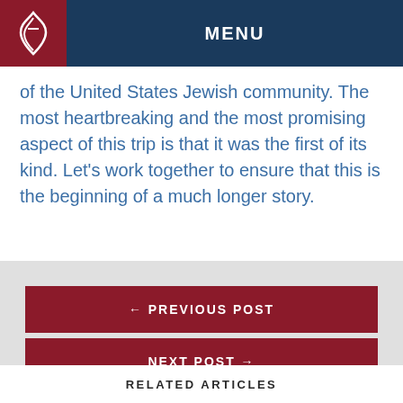MENU
of the United States Jewish community. The most heartbreaking and the most promising aspect of this trip is that it was the first of its kind. Let's work together to ensure that this is the beginning of a much longer story.
← PREVIOUS POST
NEXT POST →
RELATED ARTICLES